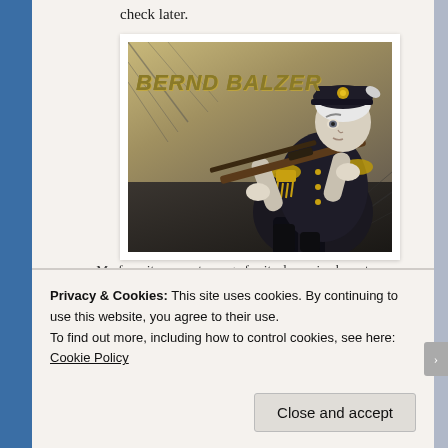check later.
[Figure (illustration): Manga-style illustration of character 'Bernd Balzer' in military uniform holding a rifle, with the character name displayed in bold italic text overlay. The character has white/silver hair and wears a dark military coat with gold epaulettes.]
My favorite current manga for its dynamic characters,
Privacy & Cookies: This site uses cookies. By continuing to use this website, you agree to their use.
To find out more, including how to control cookies, see here: Cookie Policy
Close and accept